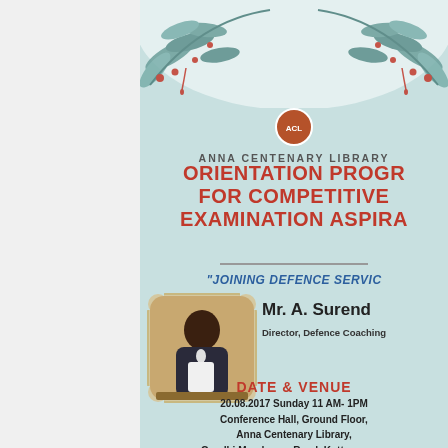[Figure (illustration): Floral decoration at the top of the flyer with teal/green leaves and red berries on white/light background]
[Figure (logo): Anna Centenary Library circular emblem/crest in orange-brown color]
ANNA CENTENARY LIBRARY
ORIENTATION PROGRAMME FOR COMPETITIVE EXAMINATION ASPIRANTS
"JOINING DEFENCE SERVICES"
[Figure (photo): Photo of Mr. A. Surendran speaking at a podium with microphone, wearing a suit]
Mr. A. Surendran
Director, Defence Coaching
DATE & VENUE
20.08.2017 Sunday 11 AM- 1PM
Conference Hall, Ground Floor,
Anna Centenary Library,
Gandhi Mandapam Road, Kotturpuram,
Chennai-85